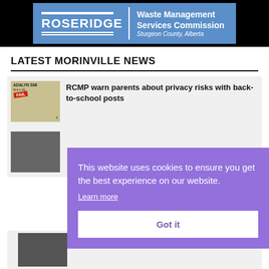[Figure (logo): Roseridge Waste Management Services Commission logo on blue background with white text, Sturgeon County Alberta]
LATEST MORINVILLE NEWS
[Figure (screenshot): News article thumbnail with text ADALYN SMI... and FAIL badge]
RCMP warn parents about privacy risks with back-to-school posts
[Figure (screenshot): Cookie consent overlay: This website uses cookies to ensure you get the best experience on our website. Learn more. Got it button.]
Morinville's new CAO